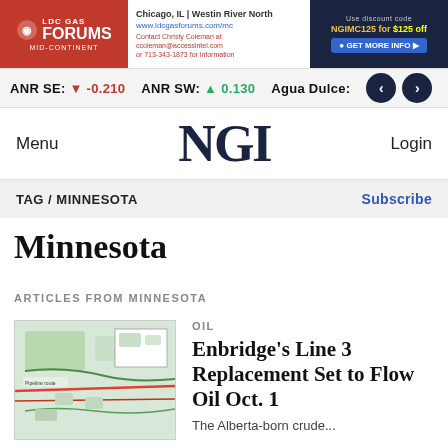[Figure (infographic): LDC Gas Forums Mid-Continent advertisement banner with red logo on left, event details in center, and dark blue discount code panel on right reading NGIMC125 for $125 off]
ANR SE: ▼ -0.210   ANR SW: ▲ 0.130   Agua Dulce: ‹ ›
Menu   NGI   Login
TAG / MINNESOTA   Subscribe
Minnesota
ARTICLES FROM MINNESOTA
[Figure (map): Map thumbnail showing pipeline routes through Minnesota region with green and red lines]
OIL
Enbridge's Line 3 Replacement Set to Flow Oil Oct. 1
The Alberta-born crude...